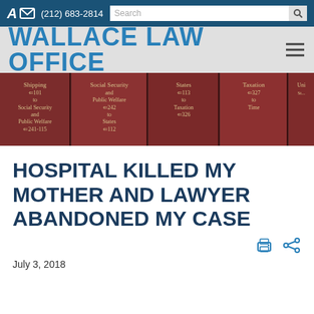A ✉ (212) 683-2814 | Search
WALLACE LAW OFFICE
[Figure (photo): Row of red law books on a shelf with gold text showing sections like Shipping, Social Security and Public Welfare, States, Taxation, etc.]
HOSPITAL KILLED MY MOTHER AND LAWYER ABANDONED MY CASE
July 3, 2018